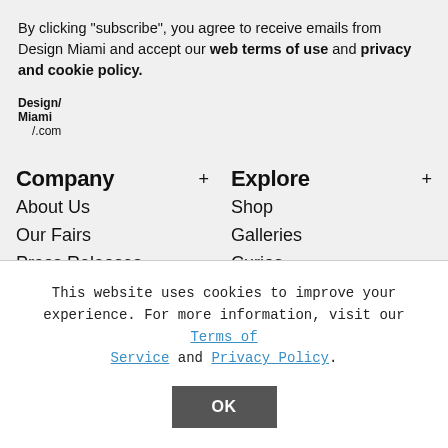By clicking "subscribe", you agree to receive emails from Design Miami and accept our web terms of use and privacy and cookie policy.
[Figure (logo): Design Miami/.com logo in black and white]
Company
About Us
Our Fairs
Press Releases
Contact Us
Terms of Service (partially visible)
Explore
Shop
Galleries
Curios
The Forum
Collections (partially visible)
This website uses cookies to improve your experience. For more information, visit our Terms of Service and Privacy Policy.